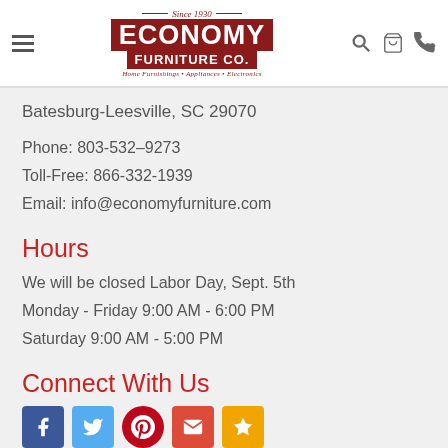[Figure (logo): Economy Furniture Co. logo with 'Since 1930' above, red banner with ECONOMY FURNITURE CO. text, tagline: Home Furnishings • Appliances • Electronics]
Batesburg-Leesville, SC 29070
Phone: 803-532–9273
Toll-Free: 866-332-1939
Email: info@economyfurniture.com
Hours
We will be closed Labor Day, Sept. 5th
Monday - Friday 9:00 AM - 6:00 PM
Saturday 9:00 AM - 5:00 PM
Connect With Us
[Figure (infographic): Social media icons: Facebook (blue), Twitter (light blue), Pinterest (red), Email/Google+ (red-orange), RSS/Star (yellow-orange)]